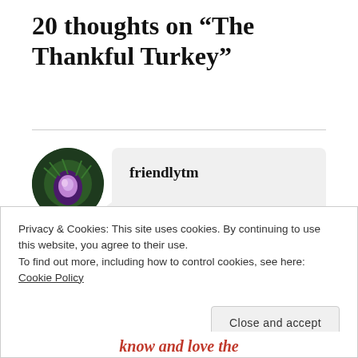20 thoughts on “The Thankful Turkey”
friendlytm
Great post! You may like to read my post on change also.
Privacy & Cookies: This site uses cookies. By continuing to use this website, you agree to their use.
To find out more, including how to control cookies, see here: Cookie Policy
Close and accept
know and love the